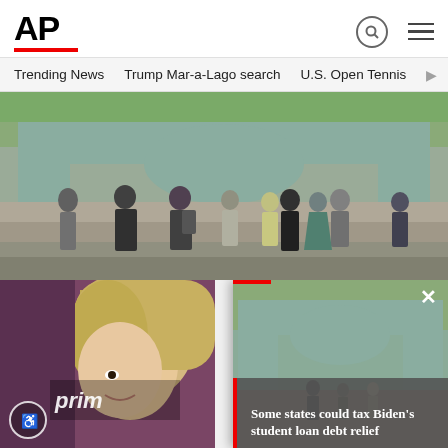[Figure (logo): AP (Associated Press) logo in bold black with red underline bar]
Trending News   Trump Mar-a-Lago search   U.S. Open Tennis
[Figure (photo): Photo of students and people walking through Sather Gate at UC Berkeley campus]
[Figure (photo): Thumbnail overlay showing Sather Gate at UC Berkeley with caption about student loan debt relief]
[Figure (photo): Photo of a blonde woman at what appears to be an Amazon Prime event]
Some states could tax Biden’s student loan debt relief